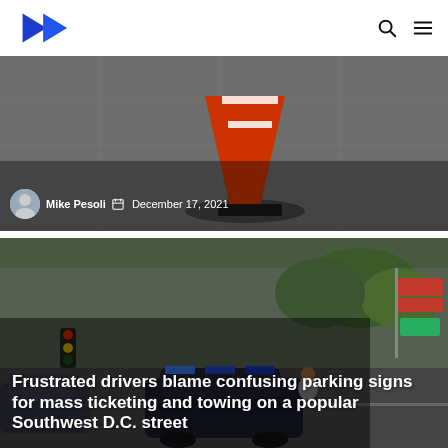News website navigation bar with logo and icons
[Figure (photo): Close-up photo of an orange traffic cone on a sidewalk/road surface with shadows, with author byline overlay: Mike Pesoli, December 17, 2021]
Mike Pesoli  December 17, 2021
[Figure (photo): Street scene with cars, traffic lights, and parking signs in Southwest D.C., with bold white headline overlay: Frustrated drivers blame confusing parking signs for mass ticketing and towing on a popular Southwest D.C. street]
Frustrated drivers blame confusing parking signs for mass ticketing and towing on a popular Southwest D.C. street